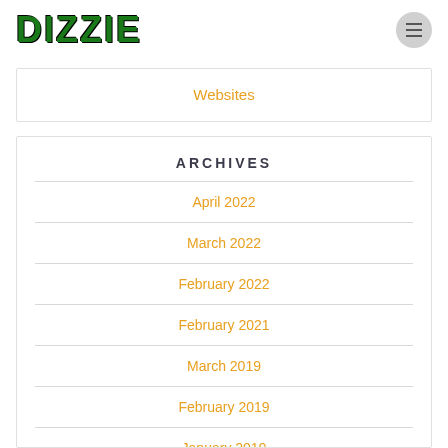DIZZIE
Websites
ARCHIVES
April 2022
March 2022
February 2022
February 2021
March 2019
February 2019
January 2019